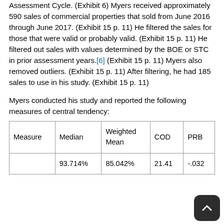Assessment Cycle. (Exhibit 6) Myers received approximately 590 sales of commercial properties that sold from June 2016 through June 2017. (Exhibit 15 p. 11) He filtered the sales for those that were valid or probably valid. (Exhibit 15 p. 11) He filtered out sales with values determined by the BOE or STC in prior assessment years.[6] (Exhibit 15 p. 11) Myers also removed outliers. (Exhibit 15 p. 11) After filtering, he had 185 sales to use in his study. (Exhibit 15 p. 11)
Myers conducted his study and reported the following measures of central tendency:
| Measure | Median | Weighted Mean | COD | PRB |
| --- | --- | --- | --- | --- |
|  | 93.714% | 85.042% | 21.41 | -.032 |